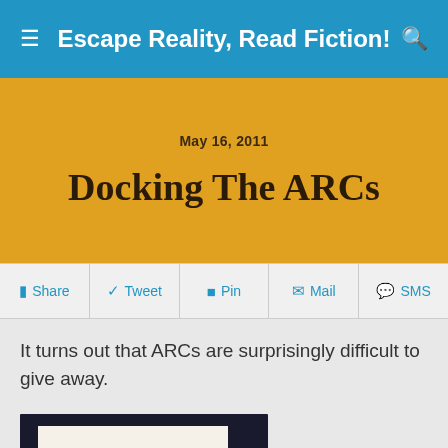Escape Reality, Read Fiction!
May 16, 2011
Docking The ARCs
Share  Tweet  Pin  Mail  SMS
It turns out that ARCs are surprisingly difficult to give away.
[Figure (photo): Photo of a book titled MONA LISA BLOSSOMING on a dark background]